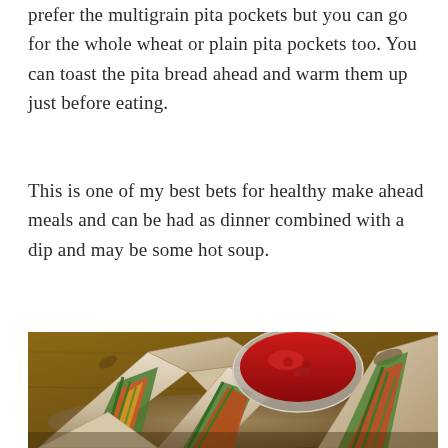prefer the multigrain pita pockets but you can go for the whole wheat or plain pita pockets too. You can toast the pita bread ahead and warm them up just before eating.
This is one of my best bets for healthy make ahead meals and can be had as dinner combined with a dip and may be some hot soup.
[Figure (photo): A close-up photo of pita pocket sandwiches filled with vegetables (green beans, peppers, and other colorful vegetables) on a wooden board, with a small glass bowl of red dipping sauce/ketchup in the background.]